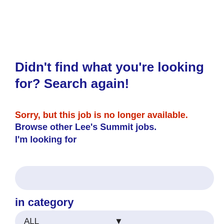Didn't find what you're looking for? Search again!
Sorry, but this job is no longer available. Browse other Lee's Summit jobs.
I'm looking for
in category
within